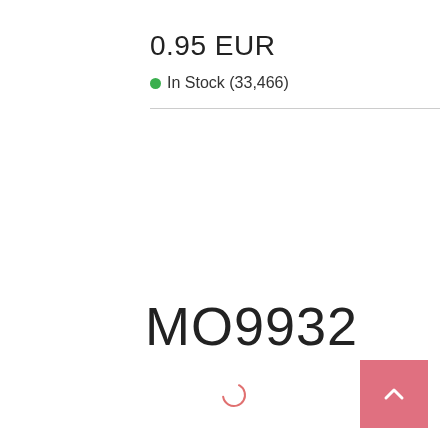0.95 EUR
In Stock (33,466)
[Figure (other): Loading spinner icon — a red/pink partial circle arc indicating loading state]
MO9932
[Figure (other): Pink/red 'back to top' button with an upward chevron arrow in the bottom-right corner]